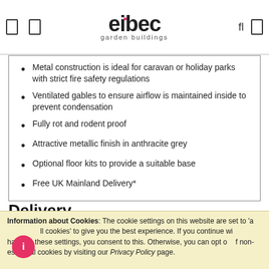elbec garden buildings
Metal construction is ideal for caravan or holiday parks with strict fire safety regulations
Ventilated gables to ensure airflow is maintained inside to prevent condensation
Fully rot and rodent proof
Attractive metallic finish in anthracite grey
Optional floor kits to provide a suitable base
Free UK Mainland Delivery*
Delivery
ALL DELIVERIES ARE DELIVERED TO KERBSIDE OR DRIVEWAY AND ARE FLAT PACKED READY FOR...
Information about Cookies: The cookie settings on this website are set to 'allow all cookies' to give you the best experience. If you continue without changing these settings, you consent to this. Otherwise, you can opt out of non-essential cookies by visiting our Privacy Policy page.